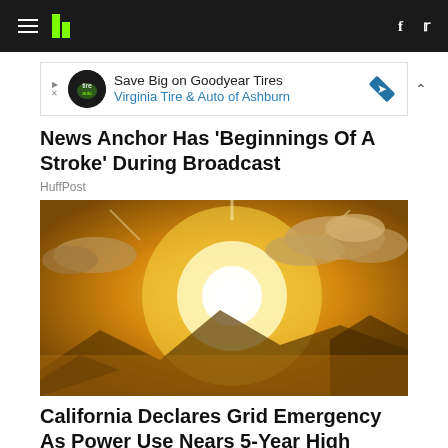HuffPost navigation bar with hamburger menu, logo, Facebook and Twitter icons
[Figure (screenshot): Advertisement banner: Save Big on Goodyear Tires - Virginia Tire & Auto of Ashburn]
News Anchor Has 'Beginnings Of A Stroke' During Broadcast
HuffPost
[Figure (photo): Bright sun shining through golden-orange clouds in a dramatic sky]
California Declares Grid Emergency As Power Use Nears 5-Year High
HuffPost